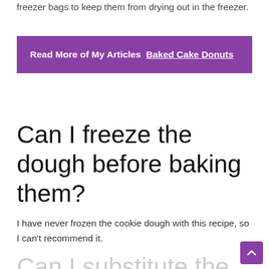freezer bags to keep them from drying out in the freezer.
Read More of My Articles  Baked Cake Donuts
Can I freeze the dough before baking them?
I have never frozen the cookie dough with this recipe, so I can't recommend it.
Can I substitute the